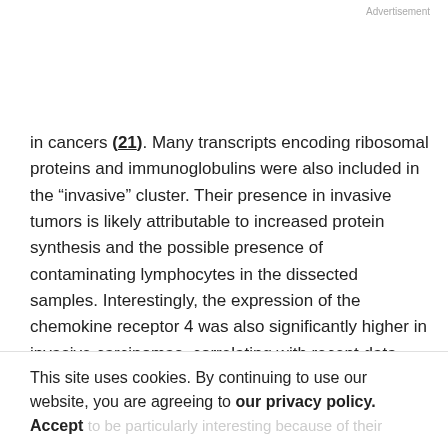Advertisement
in cancers (21). Many transcripts encoding ribosomal proteins and immunoglobulins were also included in the “invasive” cluster. Their presence in invasive tumors is likely attributable to increased protein synthesis and the possible presence of contaminating lymphocytes in the dissected samples. Interestingly, the expression of the chemokine receptor 4 was also significantly higher in invasive carcinomas, correlating with recent data
This site uses cookies. By continuing to use our website, you are agreeing to our privacy policy. Accept